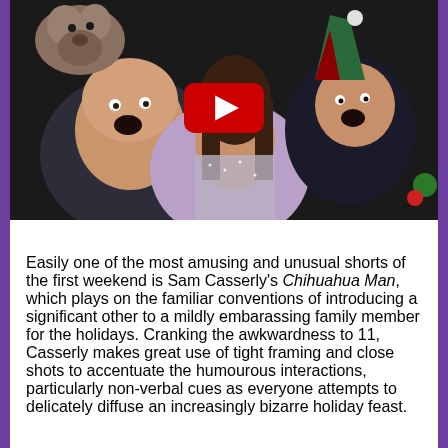[Figure (photo): A group selfie photo of three people and a small dog (chihuahua). One person on the left is making a surprised face, a woman with long dark hair is in the center-front, and a person on the right is wearing a Christmas elf hat. A chihuahua is visible in the upper left. The image has a YouTube play button overlay in the center.]
Easily one of the most amusing and unusual shorts of the first weekend is Sam Casserly's Chihuahua Man, which plays on the familiar conventions of introducing a significant other to a mildly embarassing family member for the holidays. Cranking the awkwardness to 11, Casserly makes great use of tight framing and close shots to accentuate the humourous interactions, particularly non-verbal cues as everyone attempts to delicately diffuse an increasingly bizarre holiday feast.